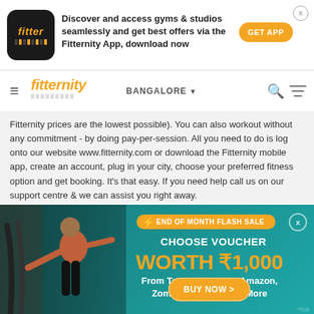[Figure (screenshot): Fitternity app download banner with orange app logo, text 'Discover and access gyms & studios seamlessly and get best offers via the Fitternity App, download now' and orange GET APP button]
[Figure (screenshot): Fitternity website navigation bar with hamburger menu, Fitternity logo, BANGALORE location dropdown, search and filter icons]
Fitternity prices are the lowest possible). You can also workout without any commitment - by doing pay-per-session. All you need to do is log onto our website www.fitternity.com or download the Fitternity mobile app, create an account, plug in your city, choose your preferred fitness option and get booking. It's that easy. If you need help call us on our support centre & we can assist you right away.
[Figure (advertisement): End of month flash sale advertisement on teal background. Shows man exercising with battle ropes. Text: END OF MONTH FLASH SALE, CHOOSE VOUCHER WORTH ₹1,000 From Top Brands Like Amazon, Zomato, Starbucks & More, BUY NOW button]